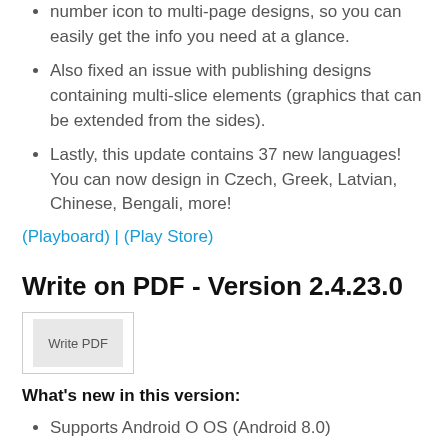number icon to multi-page designs, so you can easily get the info you need at a glance.
Also fixed an issue with publishing designs containing multi-slice elements (graphics that can be extended from the sides).
Lastly, this update contains 37 new languages! You can now design in Czech, Greek, Latvian, Chinese, Bengali, more!
(Playboard) | (Play Store)
Write on PDF - Version 2.4.23.0
[Figure (logo): Write PDF app icon thumbnail]
What's new in this version:
Supports Android O OS (Android 8.0)
(Playboard) | (Play Store)